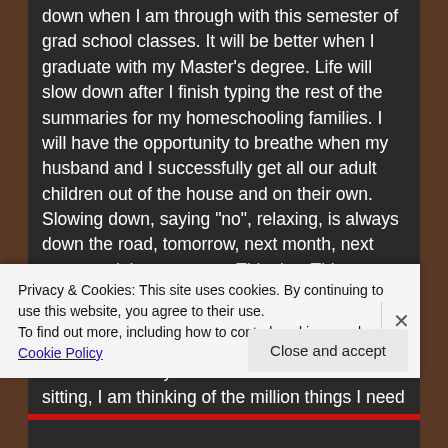down when I am through with this semester of grad school classes. It will be better when I graduate with my Master's degree. Life will slow down after I finish typing the rest of the summaries for my homeschooling families. I will have the opportunity to breathe when my husband and I successfully get all our adult children out of the house and on their own. Slowing down, saying "no", relaxing, is always down the road, tomorrow, next month, next year…… it is never now. This day. This moment. I genuinely want it to be. I'll be honest with you. I have a difficult time relaxing. Like so many wives and mothers, slowing down is not easy for me. Even when I am sitting, I am thinking of the million things I need to get done. This let's face it, can be exhausting in
Privacy & Cookies: This site uses cookies. By continuing to use this website, you agree to their use.
To find out more, including how to control cookies, see here: Cookie Policy
Close and accept